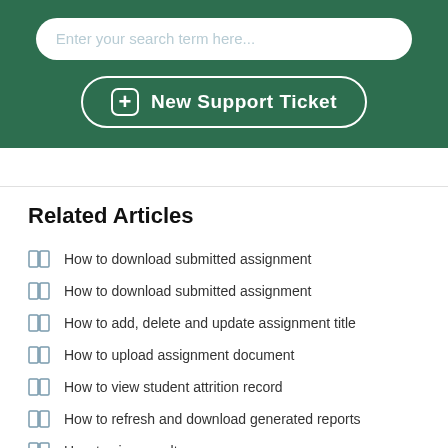[Figure (screenshot): Search input box with placeholder text 'Enter your search term here...']
[Figure (screenshot): Green button with plus icon labeled 'New Support Ticket']
Related Articles
How to download submitted assignment
How to download submitted assignment
How to add, delete and update assignment title
How to upload assignment document
How to view student attrition record
How to refresh and download generated reports
How to view results
How to view and download your ward's result